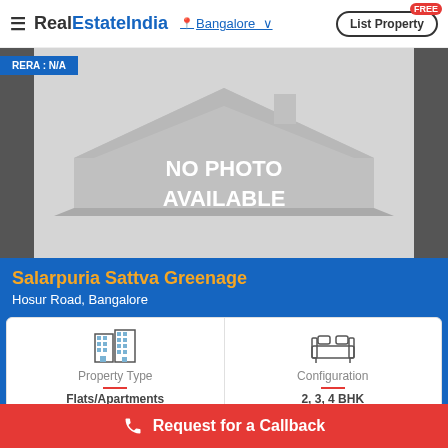RealEstateIndia — Bangalore — List Property FREE
[Figure (photo): No photo available placeholder image with house silhouette graphic and RERA: N/A badge]
Salarpuria Sattva Greenage
Hosur Road, Bangalore
Property Type
Flats/Apartments
Configuration
2, 3, 4 BHK
Request for a Callback